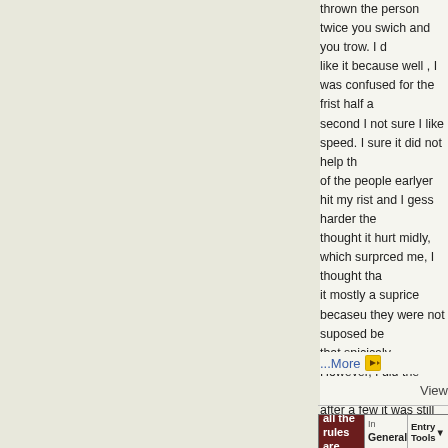thrown the person twice you swich and you trow. I d like it because well , I was confused for the frist half a second I not sure I like speed. I sure it did not help th of the people earlyer hit my rist and I gess harder the thought it hurt midly, which surprced me, I thought tha it mostly a suprice becaseu they were not suposed be that spicicaly. However, I did the roles anyaway and m after a few it was still hurting. I not sure what was up that, but then mabby it is like my acles jsut week and to wrok throw it. Odd ayway. I also relized that I did b focsing today, but I seem not beable to very well, but notieing that in other areas as well, I need to figue ou is bothering me and how to fix it. I have some ideas , not sure I can fix them. I also relly am not likeing that dojo dose not have a set rutine , not relly like we do d actives each time and not even simililar, wich I am adapdting to. However, I have set up certin areas to b same , so I can deal with the others not and some pe don not seem to like it when I do this. Today someone me to move to a difrent part of the mat becaue I alwa on this one part, wich is kinda true unless I have to m know it , I just did nto like her telling me I had to go somewhere else. I mean I gess I should, just what ma ...More
View
| When all the rules are broken | In General | Entry Tools | Rate This |
| --- | --- | --- | --- |